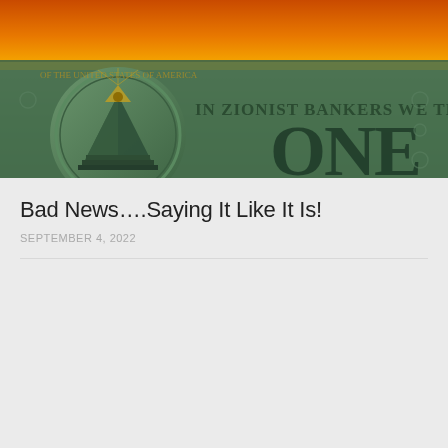[Figure (photo): A manipulated image of a US dollar bill showing the pyramid with the all-seeing eye, with text reading 'IN ZIONIST BANKERS WE TRUSTE' and 'ONE' visible, overlaid with fiery orange sky background]
Bad News….Saying It Like It Is!
SEPTEMBER 4, 2022